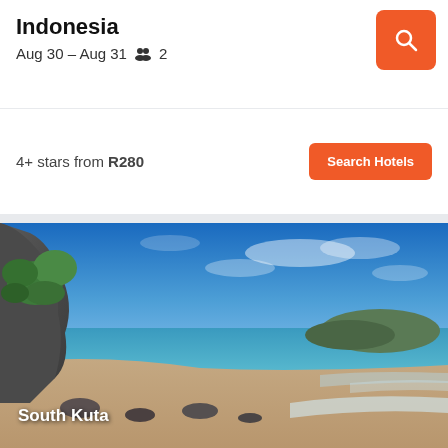Indonesia
Aug 30 – Aug 31   👥 2
4+ stars from R280
Search Hotels
[Figure (photo): Tropical beach scene with rocky cliffs covered in green vegetation on the left, turquoise ocean water, sandy shore, and blue sky with light clouds. Location labeled South Kuta.]
South Kuta